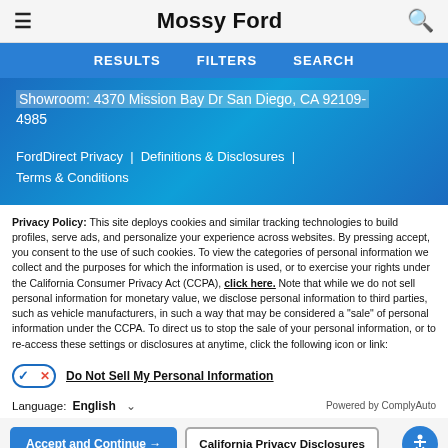Mossy Ford
[Figure (screenshot): Navigation bar with RESULTS, FILTERS, SEARCH tabs on blue background]
Showroom: 4370 Mission Bay Dr San Diego, CA 92109-4985
FordDirect Privacy | Definitions & Disclosures | Terms & Conditions
Privacy Policy: This site deploys cookies and similar tracking technologies to build profiles, serve ads, and personalize your experience across websites. By pressing accept, you consent to the use of such cookies. To view the categories of personal information we collect and the purposes for which the information is used, or to exercise your rights under the California Consumer Privacy Act (CCPA), click here. Note that while we do not sell personal information for monetary value, we disclose personal information to third parties, such as vehicle manufacturers, in such a way that may be considered a "sale" of personal information under the CCPA. To direct us to stop the sale of your personal information, or to re-access these settings or disclosures at anytime, click the following icon or link:
Do Not Sell My Personal Information
Language: English
Powered by ComplyAuto
Accept and Continue →
California Privacy Disclosures